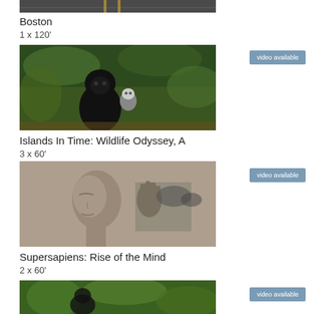[Figure (photo): Top portion of a Boston documentary thumbnail, partially visible at top of page]
Boston
1 x 120'
[Figure (photo): A black macaque monkey in a forest setting with a smaller white-faced monkey in the background]
Islands In Time: Wildlife Odyssey, A
3 x 60'
[Figure (photo): A humanoid robot or CGI human head in profile with a hand holding something to the ear/head area]
Supersapiens: Rise of the Mind
2 x 60'
[Figure (photo): Bottom thumbnail partially visible, showing green tropical foliage]
video available
video available
video available